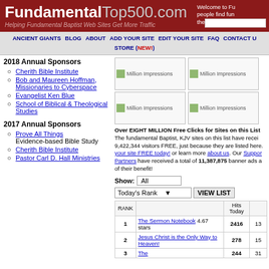FundamentalTop500.com — Helping Fundamental Baptist Web Sites Get More Traffic
2018 Annual Sponsors
Cherith Bible Institute
Bob and Maureen Hoffman, Missionaries to Cyberspace
Evangelist Ken Blue
School of Biblical & Theological Studies
2017 Annual Sponsors
Prove All Things — Evidence-based Bible Study
Cherith Bible Institute
Pastor Carl D. Hall Ministries
Over EIGHT MILLION Free Clicks for Sites on this List! The fundamental Baptist, KJV sites on this list have received 9,422,344 visitors FREE, just because they are listed here. Add your site FREE today! or learn more about us. Our Supporting Partners have received a total of 11,387,875 banner ads and more of their benefit!
| RANK |  | Hits Today |  |
| --- | --- | --- | --- |
| 1 | The Sermon Notebook 4.67 stars | 2416 | 13 |
| 2 | Jesus Christ is the Only Way to Heaven! | 278 | 15 |
| 3 | The | 244 | 31 |